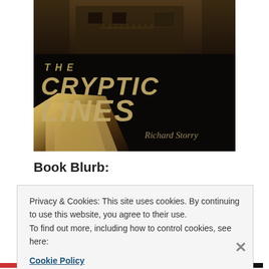[Figure (illustration): Book cover for 'The Cryptic Lines' by Richard Storry. Dark atmospheric image showing an old house at night in sepia/dark tones. Large stylized italic text reads 'THE CRYPTIC LINES' in golden/tan scratched lettering. An open book with golden pages is visible at the bottom left. Author name 'Richard Storry' appears at the bottom right.]
Book Blurb:
Privacy & Cookies: This site uses cookies. By continuing to use this website, you agree to their use.
To find out more, including how to control cookies, see here:
Cookie Policy
Close and accept